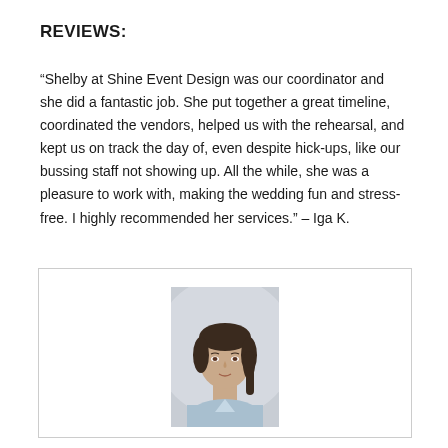REVIEWS:
“Shelby at Shine Event Design was our coordinator and she did a fantastic job. She put together a great timeline, coordinated the vendors, helped us with the rehearsal, and kept us on track the day of, even despite hick-ups, like our bussing staff not showing up. All the while, she was a pleasure to work with, making the wedding fun and stress-free. I highly recommended her services.” – Iga K.
[Figure (photo): Portrait photo of a young woman with dark hair pulled back, wearing a light blue shirt, neutral background.]